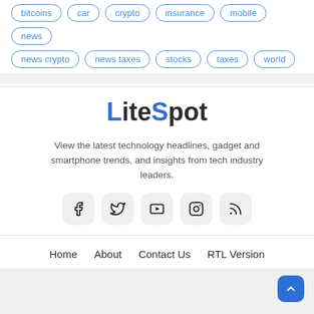bitcoins
car
crypto
insurance
mobile
news
news crypto
news taxes
stocks
taxes
world
LiteSpot
View the latest technology headlines, gadget and smartphone trends, and insights from tech industry leaders.
[Figure (infographic): Row of 5 social media icons: Facebook, Twitter, YouTube, Instagram, RSS feed — each in a rounded square light gray button]
Home   About   Contact Us   RTL Version